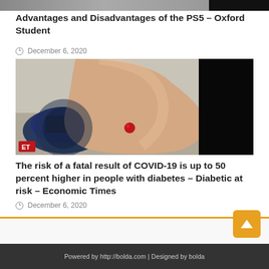[Figure (photo): Partial top strip of a webpage article image, partially visible]
Advantages and Disadvantages of the PS5 – Oxford Student
December 6, 2020
[Figure (photo): Close-up photo of a finger with a blood drop being tested on a blood glucose meter. ET logo visible in lower-left corner. Right portion of image is solid black.]
The risk of a fatal result of COVID-19 is up to 50 percent higher in people with diabetes – Diabetic at risk – Economic Times
December 6, 2020
Powered by http://bolda.com | Designed by bolda